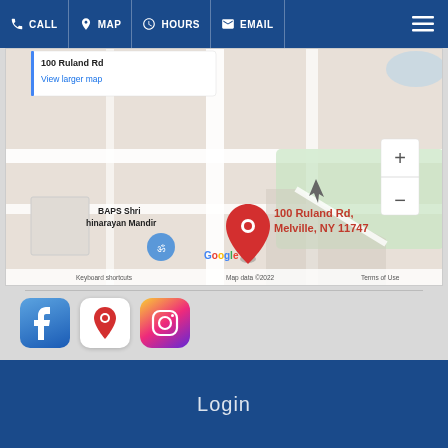CALL | MAP | HOURS | EMAIL
[Figure (map): Google Map showing 100 Ruland Rd, Melville, NY 11747 with a red location pin, BAPS Shri Swaminarayan Mandir nearby, zoom controls, and map attribution: Keyboard shortcuts | Map data ©2022 | Terms of Use]
[Figure (infographic): Three social media icons: Facebook, Google Maps, Instagram]
Copyright ©2022 All Sportz Melville. All Rights Reserved.
Designed by MyBusinessMyWebsite
Login